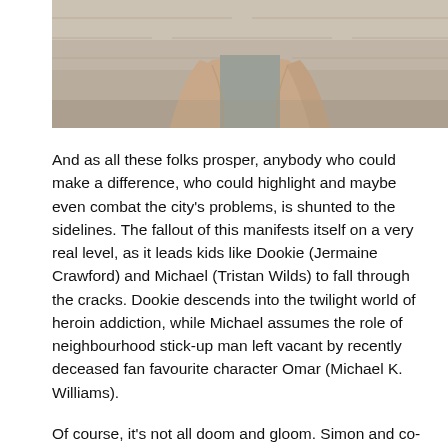[Figure (photo): Partial photo of a person wearing a light pink/beige long-sleeve shirt over a gray shirt, with a stone wall background. Only the torso and arms are visible, cropped at the top of the page.]
And as all these folks prosper, anybody who could make a difference, who could highlight and maybe even combat the city's problems, is shunted to the sidelines. The fallout of this manifests itself on a very real level, as it leads kids like Dookie (Jermaine Crawford) and Michael (Tristan Wilds) to fall through the cracks. Dookie descends into the twilight world of heroin addiction, while Michael assumes the role of neighbourhood stick-up man left vacant by recently deceased fan favourite character Omar (Michael K. Williams).
Of course, it's not all doom and gloom. Simon and co-writer Ed Burns are too smart to insist that life is only heartache and unhappy endings.
For starters, Lestor Freamon (Clarke Peters) seems to be